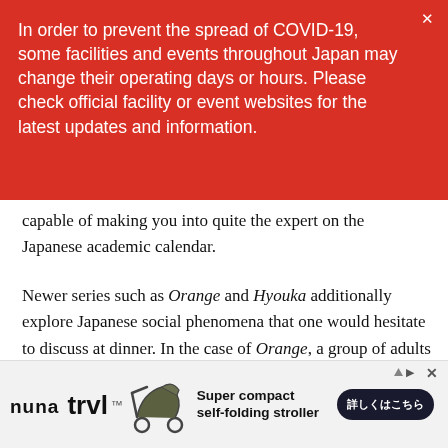In order to prevent the spread of COVID-19, some facilities and events throughout Japan may change their operating days or hours. Please check official facility or event websites for the latest updates and information.
capable of making you into quite the expert on the Japanese academic calendar.
Newer series such as Orange and Hyouka additionally explore Japanese social phenomena that one would hesitate to discuss at dinner. In the case of Orange, a group of adults is given the chance to relive their high school days, which ended with a friend's suicide. With the benefit of hindsight, would they then succeed in changing history?
[Figure (infographic): Advertisement banner for nuna trvl super compact self-folding stroller with Japanese button]